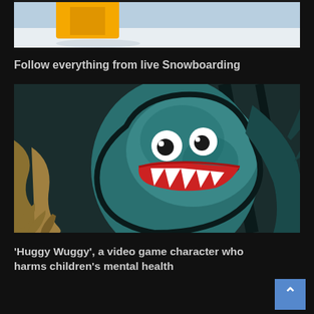[Figure (photo): Top portion of a snowboarding image showing snow and a yellow object, partially cropped]
Follow everything from live Snowboarding
[Figure (photo): Huggy Wuggy character from a video game - a dark teal/blue monster with large white eyes, red lips and sharp teeth, clawed hands]
'Huggy Wuggy', a video game character who harms children's mental health